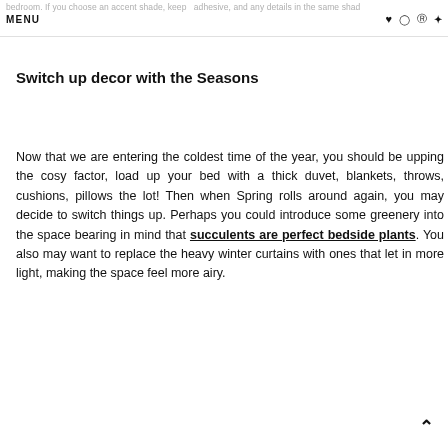bedroom. If you choose an accent shade, keep adhesive, and any details in the same shade  MENU ♥ ⊙ ⊕ ✦
Switch up decor with the Seasons
Now that we are entering the coldest time of the year, you should be upping the cosy factor, load up your bed with a thick duvet, blankets, throws, cushions, pillows the lot! Then when Spring rolls around again, you may decide to switch things up. Perhaps you could introduce some greenery into the space bearing in mind that succulents are perfect bedside plants. You also may want to replace the heavy winter curtains with ones that let in more light, making the space feel more airy.